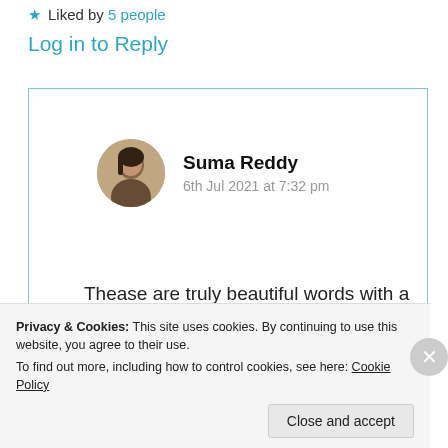★ Liked by 5 people
Log in to Reply
Suma Reddy
6th Jul 2021 at 7:32 pm
Thease are truly beautiful words with a precise meaning. Thank you very much for sharing such a lovely
Privacy & Cookies: This site uses cookies. By continuing to use this website, you agree to their use.
To find out more, including how to control cookies, see here: Cookie Policy
Close and accept